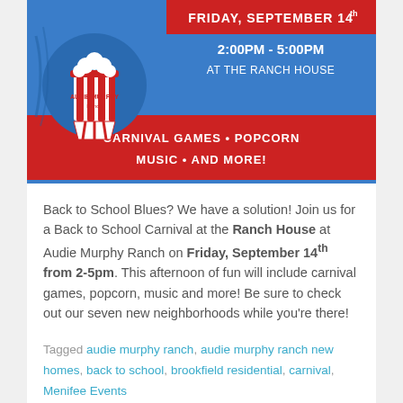[Figure (illustration): Back to School Carnival event flyer banner for Audie Murphy Ranch. Blue background with red popcorn bucket logo, red header reading FRIDAY, SEPTEMBER 14th, then 2:00PM - 5:00PM AT THE RANCH HOUSE in white, and red footer reading CARNIVAL GAMES • POPCORN MUSIC • AND MORE!]
Back to School Blues? We have a solution! Join us for a Back to School Carnival at the Ranch House at Audie Murphy Ranch on Friday, September 14th from 2-5pm. This afternoon of fun will include carnival games, popcorn, music and more! Be sure to check out our seven new neighborhoods while you're there!
Tagged audie murphy ranch, audie murphy ranch new homes, back to school, brookfield residential, carnival, Menifee Events
Join the Community for a